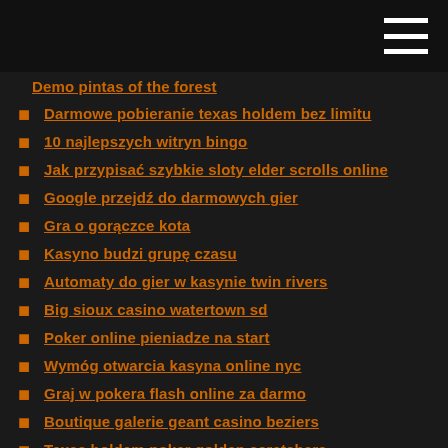Demo pintas of the forest
Darmowe pobieranie texas holdem bez limitu
10 najlepszych witryn bingo
Jak przypisać szybkie sloty elder scrolls online
Google przejdź do darmowych gier
Gra o gorączce kota
Kasyno budzi grupę czasu
Automaty do gier w kasynie twin rivers
Big sioux casino watertown sd
Poker online pieniadze na start
Wymóg otwarcia kasyna online nyc
Graj w pokera flash online za darmo
Boutique galerie geant casino beziers
Texas holdem poker golden scratchers